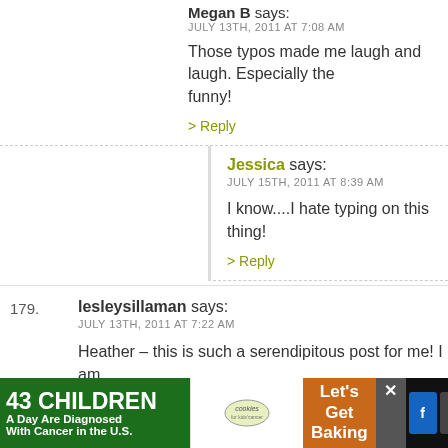Megan B says:
JULY 13TH, 2011 AT 7:08 AM
Those typos made me laugh and laugh. Especially the funny!
> Reply
Jessica says:
JULY 15TH, 2011 AT 8:39 AM
I know....I hate typing on this thing!
> Reply
179. lesleysillaman says:
JULY 13TH, 2011 AT 7:22 AM
Heather – this is such a serendipitous post for me! I am from a scheduled C – it's my second (first was unplanned emergency.) My doctors did not push me to do the repe recommend it. I've felt fine about it up until about a wee have been having second thoughts – worried that I'm m
[Figure (other): Advertisement banner: 43 Children A Day Are Diagnosed With Cancer in the U.S. / cookies for kids' cancer / Let's Get Baking with close button and social media icons]